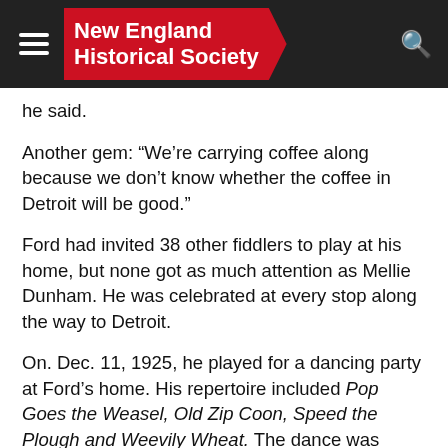New England Historical Society
he said.
Another gem: “We’re carrying coffee along because we don’t know whether the coffee in Detroit will be good.”
Ford had invited 38 other fiddlers to play at his home, but none got as much attention as Mellie Dunham. He was celebrated at every stop along the way to Detroit.
On. Dec. 11, 1925, he played for a dancing party at Ford’s home. His repertoire included Pop Goes the Weasel, Old Zip Coon, Speed the Plough and Weevily Wheat. The dance was heavily publicized by reporters and photographers from Detroit, New York and Boston. The next day he gave a recital on Ford’s Stradivarius.